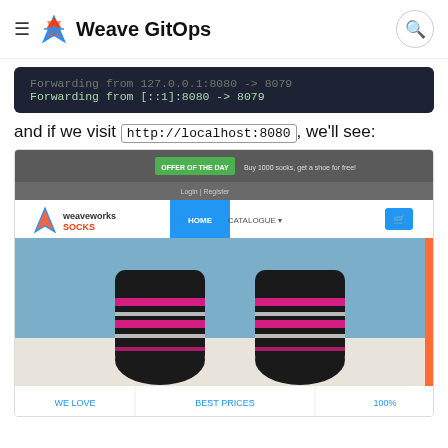Weave GitOps
Forwarding from 127.0.0.1:8080 -> 8079
Forwarding from [::1]:8080 -> 8079
and if we visit http://localhost:8080, we'll see:
[Figure (screenshot): Screenshot of the Weaveworks Socks e-commerce website homepage showing navigation bar with HOME and CATALOGUE links, a promotional banner 'OFFER OF THE DAY - Buy 1000 socks, get a shoe for free!', a hero image of striped socks, and footer sections for WE LOVE, BEST PRICES, and 100%]